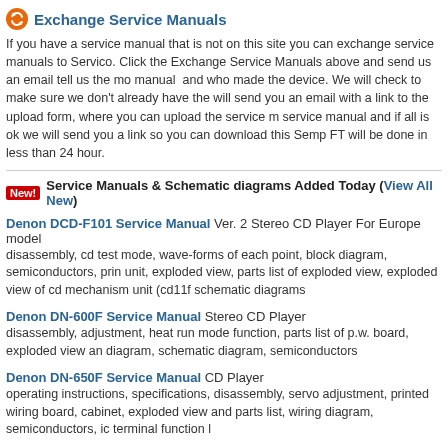Exchange Service Manuals
If you have a service manual that is not on this site you can exchange service manuals to Servico. Click the Exchange Service Manuals above and send us an email tell us the mo manual and who made the device. We will check to make sure we don't already have the will send you an email with a link to the upload form, where you can upload the service m service manual and if all is ok we will send you a link so you can download this Semp FT will be done in less than 24 hour.
Service Manuals & Schematic diagrams Added Today (View All New)
Denon DCD-F101 Service Manual Ver. 2 Stereo CD Player For Europe model disassembly, cd test mode, wave-forms of each point, block diagram, semiconductors, pri unit, exploded view, parts list of exploded view, exploded view of cd mechanism unit (cd11f schematic diagrams
Denon DN-600F Service Manual Stereo CD Player disassembly, adjustment, heat run mode function, parts list of p.w. board, exploded view an diagram, schematic diagram, semiconductors
Denon DN-650F Service Manual CD Player operating instructions, specifications, disassembly, servo adjustment, printed wiring board, cabinet, exploded view and parts list, wiring diagram, semiconductors, ic terminal function l